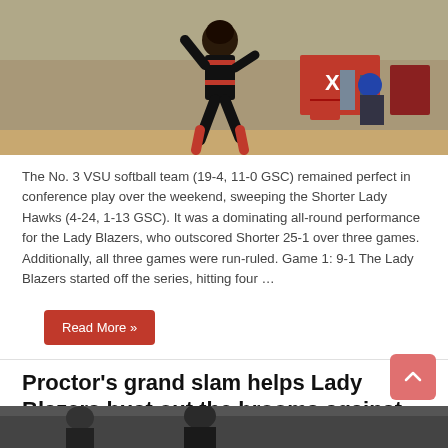[Figure (photo): Softball player in red and black uniform pitching or throwing, outdoor softball field]
The No. 3 VSU softball team (19-4, 11-0 GSC) remained perfect in conference play over the weekend, sweeping the Shorter Lady Hawks (4-24, 1-13 GSC). It was a dominating all-round performance for the Lady Blazers, who outscored Shorter 25-1 over three games. Additionally, all three games were run-ruled. Game 1: 9-1 The Lady Blazers started off the series, hitting four …
Read More »
Proctor's grand slam helps Lady Blazers bust out the brooms against Montevallo
March 9, 2022  0
[Figure (photo): Bottom photo strip of softball game action]